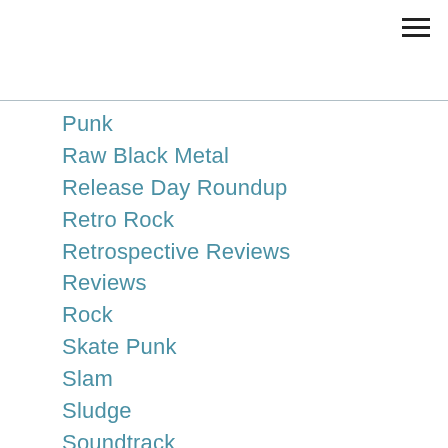[Figure (other): Hamburger menu icon (three horizontal lines) in top right corner]
Punk
Raw Black Metal
Release Day Roundup
Retro Rock
Retrospective Reviews
Reviews
Rock
Skate Punk
Slam
Sludge
Soundtrack
Speed Metal
Split Releases
Stoner
Stoner Doom
Stoner Rock
Stoner Thrash